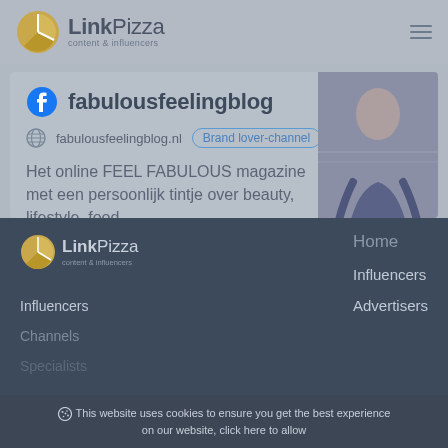LinkPizza content & influencers
fabulousfeelingblog
fabulousfeelingblog.nl  Brand lover-channel
Het online FEEL FABULOUS magazine met een persoonlijk tintje over beauty, lifestyle, food,
[Figure (photo): Photo of a woman in a patterned outfit against a light background]
LinkPizza content & influencers — Home, Influencers, Advertisers — Influencers, Channels, Specialists
This website uses cookies to ensure you get the best experience on our website, click here to allow